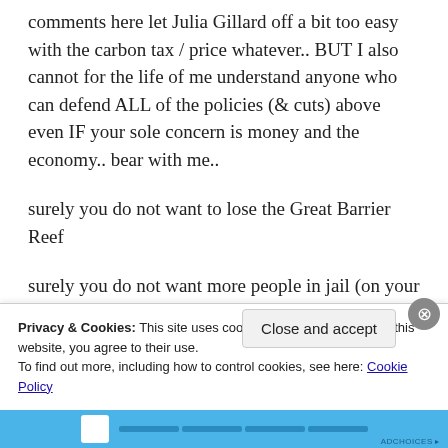comments here let Julia Gillard off a bit too easy with the carbon tax / price whatever.. BUT I also cannot for the life of me understand anyone who can defend ALL of the policies (& cuts) above even IF your sole concern is money and the economy.. bear with me..
surely you do not want to lose the Great Barrier Reef
surely you do not want more people in jail (on your tax paying dollar) and
Privacy & Cookies: This site uses cookies. By continuing to use this website, you agree to their use.
To find out more, including how to control cookies, see here: Cookie Policy